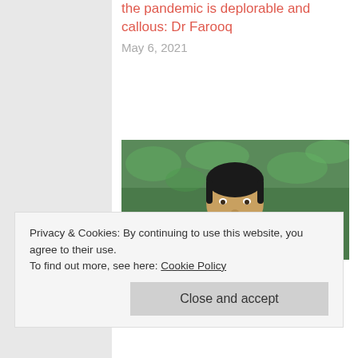the pandemic is deplorable and callous: Dr Farooq
May 6, 2021
among 4 employees sacked by J&K admin
August 14, 2022
[Figure (photo): Photo of a bearded man in front of green foliage background]
NC asks GoI to shun suspicion against JK Govt employees
April 12, 2022
Privacy & Cookies: By continuing to use this website, you agree to their use.
To find out more, see here: Cookie Policy
Close and accept